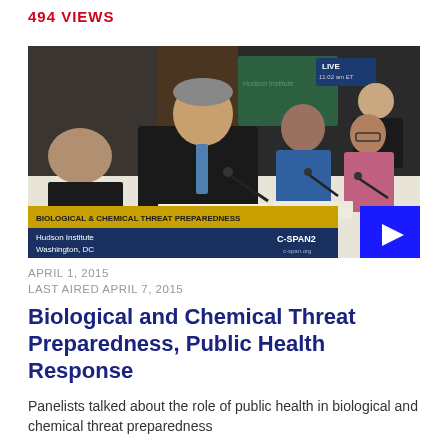494 VIEWS
[Figure (photo): Panel discussion at Hudson Institute in Washington, DC. Several people sit at a long table with microphones. Lower third chyron reads 'BIOLOGICAL & CHEMICAL THREAT PREPAREDNESS' with 'Hudson Institute / Washington, DC' and 'C-SPAN2' logo. Upper right shows 'LIVE' tag. A blue play button overlay appears in the bottom-right corner.]
APRIL 1, 2015
LAST AIRED APRIL 7, 2015
Biological and Chemical Threat Preparedness, Public Health Response
Panelists talked about the role of public health in biological and chemical threat preparedness